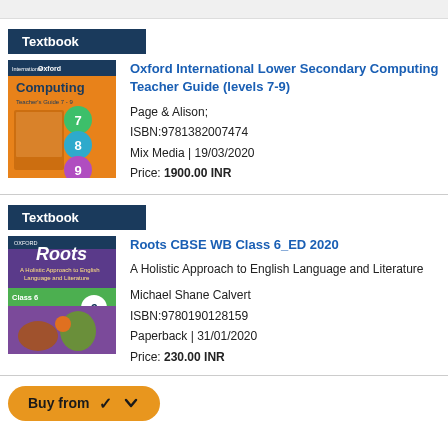Textbook
[Figure (illustration): Cover of Oxford International Lower Secondary Computing Teacher Guide showing orange book with levels 7, 8, 9 circles]
Oxford International Lower Secondary Computing Teacher Guide (levels 7-9)
Page & Alison;
ISBN:9781382007474
Mix Media | 19/03/2020
Price: 1900.00 INR
Textbook
[Figure (illustration): Cover of Roots CBSE WB Class 6 ED 2020 showing colorful children's book with tree roots and characters]
Roots CBSE WB Class 6_ED 2020
A Holistic Approach to English Language and Literature
Michael Shane Calvert
ISBN:9780190128159
Paperback | 31/01/2020
Price: 230.00 INR
Buy from